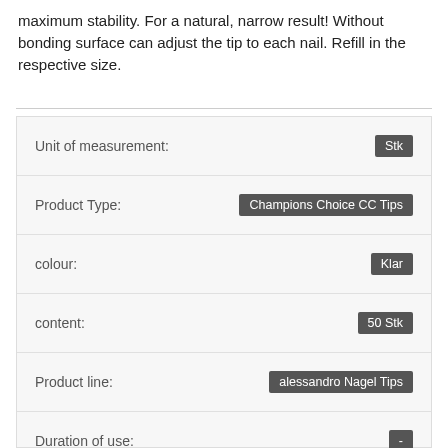maximum stability. For a natural, narrow result! Without bonding surface can adjust the tip to each nail. Refill in the respective size.
| Property | Value |
| --- | --- |
| Unit of measurement: | Stk |
| Product Type: | Champions Choice CC Tips |
| colour: | Klar |
| content: | 50 Stk |
| Product line: | alessandro Nagel Tips |
| Duration of use: | - |
| Manufacturing Country And Region: | Südkorea |
| Herstellernummer: | - |